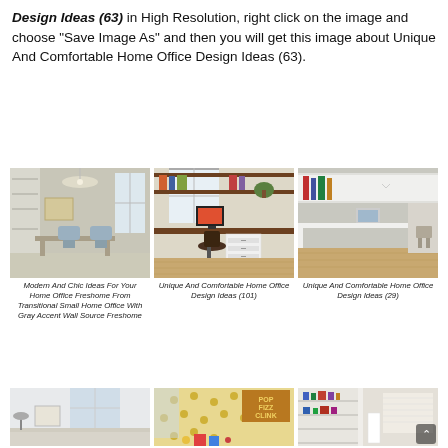Design Ideas (63) in High Resolution, right click on the image and choose "Save Image As" and then you will get this image about Unique And Comfortable Home Office Design Ideas (63).
[Figure (photo): Home office with chandelier, gray tufted chairs, built-in white shelving, and a desk in a transitional style.]
Modern And Chic Ideas For Your Home Office Freshome From Transitional Small Home Office With Gray Accent Wall Source Freshome
[Figure (photo): Home office with floating wooden shelves, a large desk with white drawer units, and a black office chair on light wood floors.]
Unique And Comfortable Home Office Design Ideas (101)
[Figure (photo): Minimalist white home office with long white desk, built-in shelving, and a laptop on a light wood floor.]
Unique And Comfortable Home Office Design Ideas (29)
[Figure (photo): Bright white home office with a window, small framed artwork, and a desk lamp.]
[Figure (photo): Colorful home office with a pegboard wall with gold polka dots, a window, and a POP FIZZ CLINK sign.]
[Figure (photo): Home office with white built-in shelving units filled with books and decorative items, and a scroll-up button overlay.]